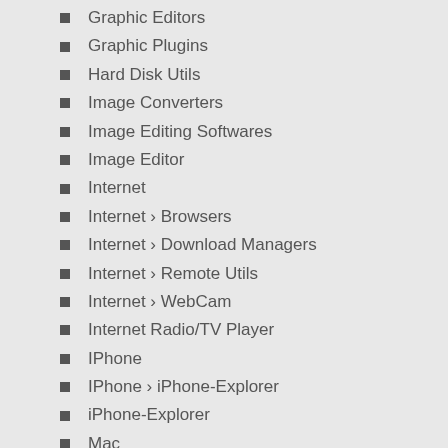Graphic Editors
Graphic Plugins
Hard Disk Utils
Image Converters
Image Editing Softwares
Image Editor
Internet
Internet › Browsers
Internet › Download Managers
Internet › Remote Utils
Internet › WebCam
Internet Radio/TV Player
IPhone
IPhone › iPhone-Explorer
iPhone-Explorer
Mac
Mac › Security